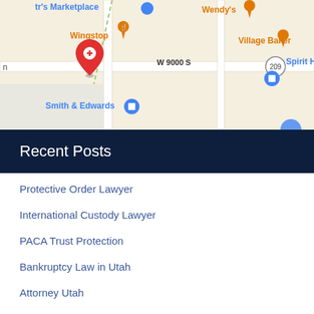[Figure (map): Google Maps screenshot showing area around W 9000 S, with markers for Wingstop, Wendy's, Village Baker, Spirit Hallo, Smith & Edwards, and a red location pin. Road 209 visible.]
Recent Posts
Protective Order Lawyer
International Custody Lawyer
PACA Trust Protection
Bankruptcy Law in Utah
Attorney Utah
Chapter 7 Lawyer